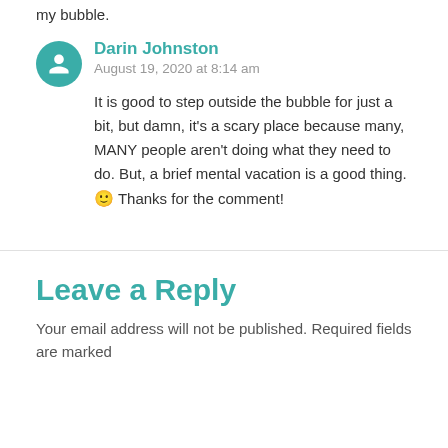my bubble.
Darin Johnston
August 19, 2020 at 8:14 am
It is good to step outside the bubble for just a bit, but damn, it's a scary place because many, MANY people aren't doing what they need to do. But, a brief mental vacation is a good thing. 🙂 Thanks for the comment!
Leave a Reply
Your email address will not be published. Required fields are marked